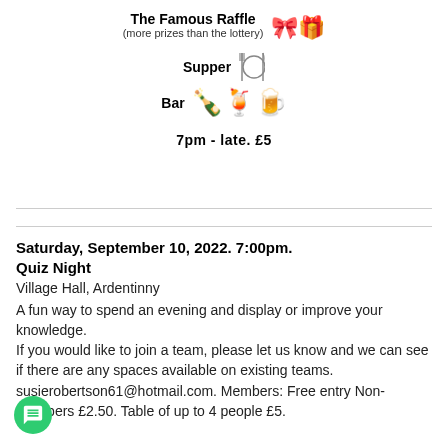The Famous Raffle
(more prizes than the lottery)
Supper
Bar
7pm - late.  £5
Saturday, September 10, 2022. 7:00pm. Quiz Night
Village Hall, Ardentinny
A fun way to spend an evening and display or improve your knowledge. If you would like to join a team, please let us know and we can see if there are any spaces available on existing teams. susierobertson61@hotmail.com. Members: Free entry Non-members £2.50. Table of up to 4 people £5.